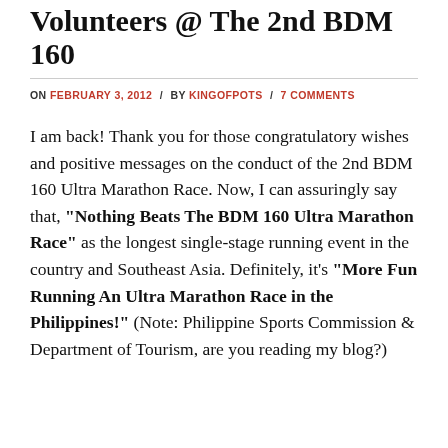Volunteers @ The 2nd BDM 160
ON FEBRUARY 3, 2012 / BY KINGOFPOTS / 7 COMMENTS
I am back! Thank you for those congratulatory wishes and positive messages on the conduct of the 2nd BDM 160 Ultra Marathon Race. Now, I can assuringly say that, "Nothing Beats The BDM 160 Ultra Marathon Race" as the longest single-stage running event in the country and Southeast Asia. Definitely, it's "More Fun Running An Ultra Marathon Race in the Philippines!" (Note: Philippine Sports Commission & Department of Tourism, are you reading my blog?)